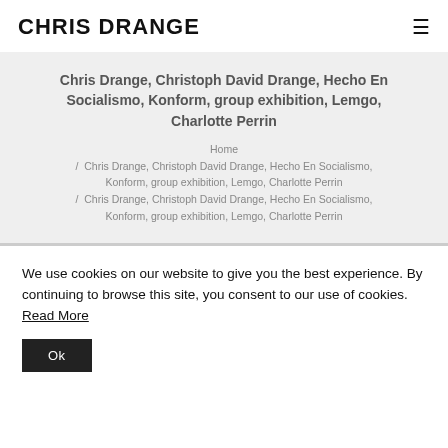CHRIS DRANGE
Chris Drange, Christoph David Drange, Hecho En Socialismo, Konform, group exhibition, Lemgo, Charlotte Perrin
Home / Chris Drange, Christoph David Drange, Hecho En Socialismo, Konform, group exhibition, Lemgo, Charlotte Perrin / Chris Drange, Christoph David Drange, Hecho En Socialismo, Konform, group exhibition, Lemgo, Charlotte Perrin
We use cookies on our website to give you the best experience. By continuing to browse this site, you consent to our use of cookies. Read More
Ok